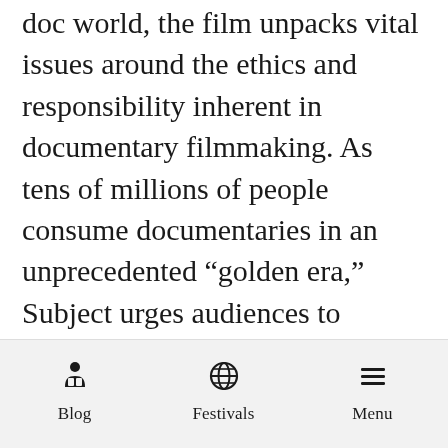featuring commentary from influential names in the doc world, the film unpacks vital issues around the ethics and responsibility inherent in documentary filmmaking. As tens of millions of people consume documentaries in an unprecedented “golden era,” Subject urges audiences to consider the often profound impact on their participants.
Blog | Festivals | Menu